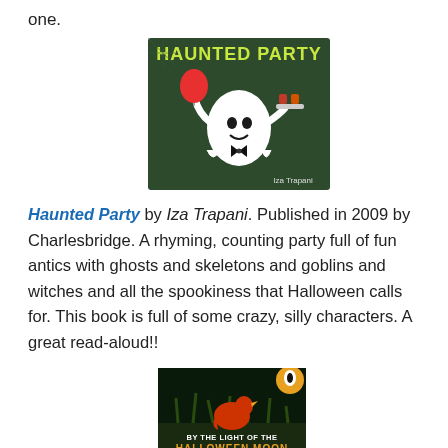one.
[Figure (illustration): Book cover of 'Haunted Party' by Iza Trapani — a ghost in a bow tie holding a red balloon and a tray of treats, on a dark green background with yellow arc title text.]
Haunted Party by Iza Trapani. Published in 2009 by Charlesbridge. A rhyming, counting party full of fun antics with ghosts and skeletons and goblins and witches and all the spookiness that Halloween calls for. This book is full of some crazy, silly characters. A great read-aloud!!
[Figure (illustration): Book cover of 'By the Light of the Halloween Moon' — a rooster silhouette among reeds with an orange moon, dark background, Puffin Books logo visible.]